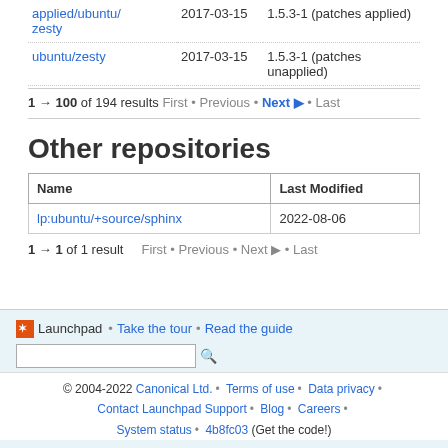| Name | Date | Version |
| --- | --- | --- |
| applied/ubuntu/zesty | 2017-03-15 | 1.5.3-1 (patches applied) |
| ubuntu/zesty | 2017-03-15 | 1.5.3-1 (patches unapplied) |
1 → 100 of 194 results First • Previous • Next ▶ • Last
Other repositories
| Name | Last Modified |
| --- | --- |
| lp:ubuntu/+source/sphinx | 2022-08-06 |
1 → 1 of 1 result   First • Previous • Next ▶ • Last
Launchpad • Take the tour • Read the guide  © 2004-2022 Canonical Ltd. • Terms of use • Data privacy • Contact Launchpad Support • Blog • Careers • System status • 4b8fc03 (Get the code!)